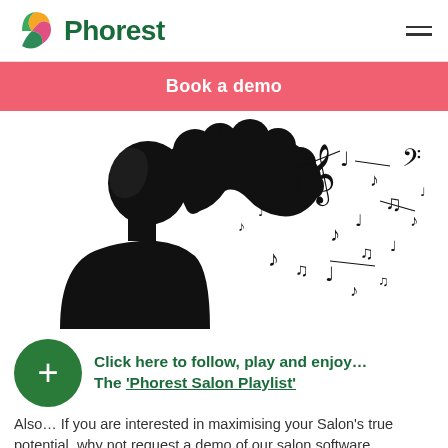Phorest
Book a demo
[Figure (illustration): Silhouette of a woman with curly hair surrounded by floating musical notes, in black and white style.]
Click here to follow, play and enjoy… The 'Phorest Salon Playlist'
Also… If you are interested in maximising your Salon's true potential, why not request a demo of our salon software